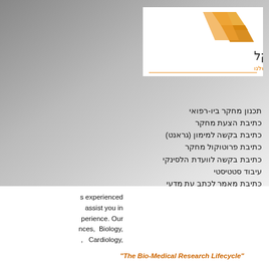[Figure (logo): Ktiva BioMedical company logo with orange arrow/chevron graphic and Hebrew text]
תכנון מחקר ביו-רפואי
כתיבת הצעת מחקר
כתיבת בקשה למימון (גראנט)
כתיבת פרוטוקול מחקר
כתיבת בקשה לוועדת הלסינקי
עיבוד סטטיסטי
כתיבת מאמר לכתב עת מדעי
עריכה מדעית
השתלמויות והדרכה במחקר רפואי
s experienced assist you in perience. Our nces, Biology, , Cardiology,
"The Bio-Medical Research Lifecycle"